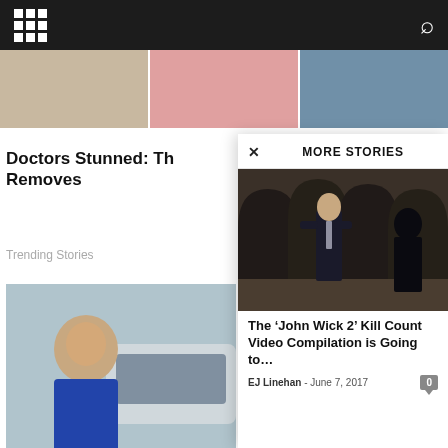Doctors Stunned: Th Removes
Trending Stories
[Figure (photo): Woman smiling next to a car, wearing a blue uniform]
Here's How Much Ashbu Maids Charg
Cleaning Service
MORE STORIES
[Figure (photo): Man in a dark suit walking through arched corridor, John Wick 2 movie still]
The ‘John Wick 2’ Kill Count Video Compilation is Going to…
EJ Linehan - June 7, 2017